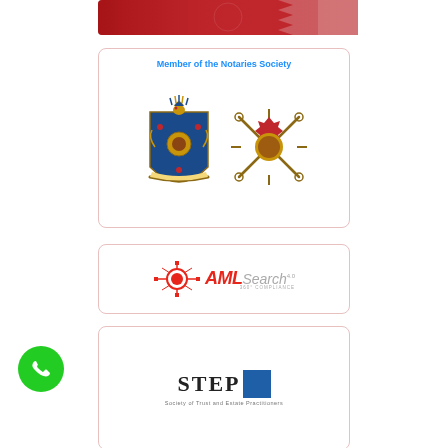[Figure (photo): Partial image of a red decorative background with Bahrain flag colors — white and red serrated pattern visible at top]
[Figure (logo): Member of the Notaries Society card with two heraldic logos — a coat of arms (blue and gold) and a decorative red sunburst badge with crossed quills. Text reads 'Member of the Notaries Society' in blue.]
[Figure (logo): AML Search 4.0 logo with 360° COMPLIANCE tagline. Red circuit-board style icon on left, AML in bold red italic, Search in gray italic, superscript 4.0, below: 360° COMPLIANCE.]
[Figure (logo): STEP logo — letters S T E P in bold serif with a blue square block after the P, indicating Society of Trust and Estate Practitioners membership.]